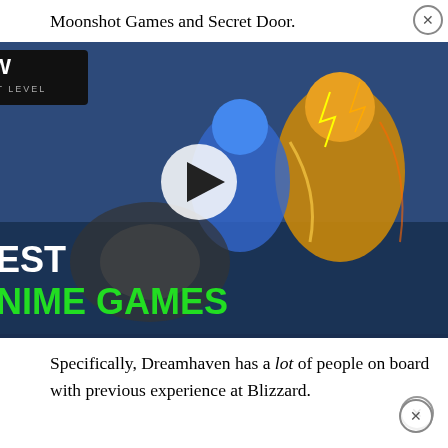Moonshot Games and Secret Door.
Not only does Morhaime bring [ad overlay] from his time at Blizzard with h[is] number of noteworthy industry[...]
[Figure (screenshot): MW Next Level video ad overlay showing 'BEST ANIME GAMES' with animated characters and a play button]
Specifically, Dreamhaven has a lot of people on board with previous experience at Blizzard.
For example, Dreamhaven has Chris Sigaty (Warcraft III, StarCraft II, Heroes of the Storm, Hearthstone) as the new Studio Head of Secret Door.
At Moonshot, the new Studio Head is Jason Chayes who worked as an artist at the Walt Disney Company, worked as an Art Lead and Development Director at Electronic Arts, and served as an Executive Producer at Blizzard.